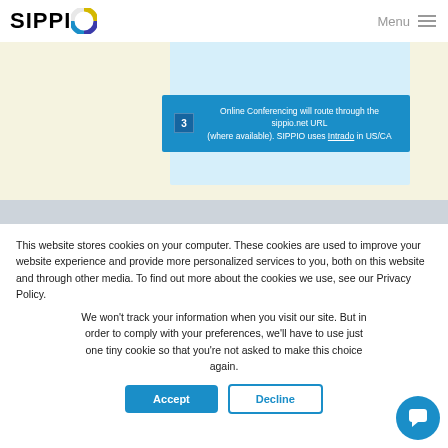[Figure (screenshot): SIPPIO website header with logo and navigation menu]
[Figure (screenshot): Blue banner with text about sippio.net and Intrado in US/CA]
This website stores cookies on your computer. These cookies are used to improve your website experience and provide more personalized services to you, both on this website and through other media. To find out more about the cookies we use, see our Privacy Policy.
We won't track your information when you visit our site. But in order to comply with your preferences, we'll have to use just one tiny cookie so that you're not asked to make this choice again.
Accept
Decline